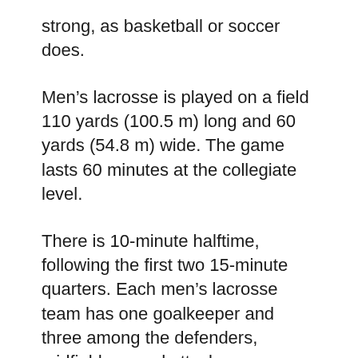strong, as basketball or soccer does.
Men's lacrosse is played on a field 110 yards (100.5 m) long and 60 yards (54.8 m) wide. The game lasts 60 minutes at the collegiate level.
There is 10-minute halftime, following the first two 15-minute quarters. Each men's lacrosse team has one goalkeeper and three among the defenders, midfielders, and attackers.
Each game begins with a face-off in the middle, and like soccer, only the goalie